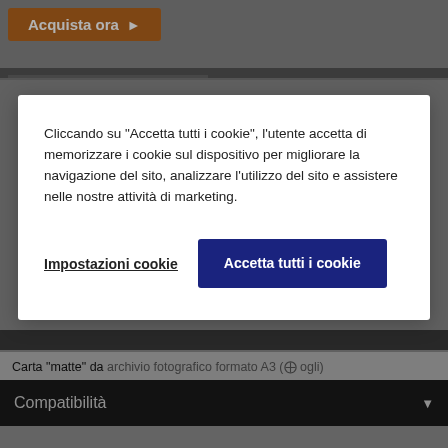[Figure (screenshot): Screenshot of a website in Italian showing an 'Acquista ora' (Buy now) orange button at top, a cookie consent modal dialog overlaying the page, grey background with text about product compatibility and supported models]
Cliccando su “Accetta tutti i cookie”, l’utente accetta di memorizzare i cookie sul dispositivo per migliorare la navigazione del sito, analizzare l’utilizzo del sito e assistere nelle nostre attività di marketing.
Impostazioni cookie
Accetta tutti i cookie
Carta "matte" da archivio fotografico formato A3 (⊕ ogli)
Compatibilità
Modelli supportati
I seguenti modelli sono compatibili con uno o più prodotti di questa gamma. Per maggiori